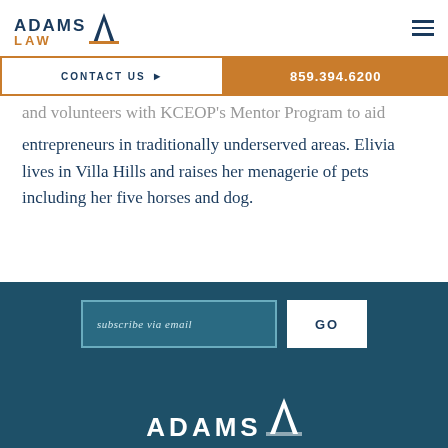ADAMS LAW
CONTACT US  ▶   859.394.6200
and volunteers with KCEOP's Mentor Program to aid entrepreneurs in traditionally underserved areas. Elivia lives in Villa Hills and raises her menagerie of pets including her five horses and dog.
subscribe via email
GO
ADAMS LAW